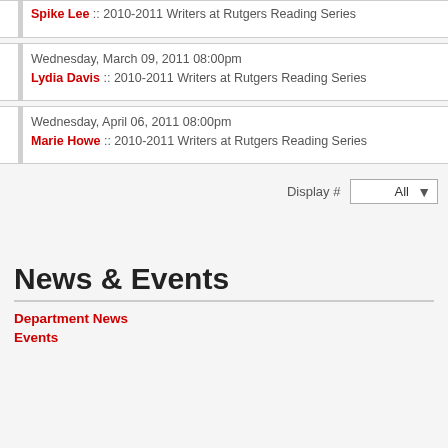Spike Lee :: 2010-2011 Writers at Rutgers Reading Series
Wednesday, March 09, 2011 08:00pm
Lydia Davis :: 2010-2011 Writers at Rutgers Reading Series
Wednesday, April 06, 2011 08:00pm
Marie Howe :: 2010-2011 Writers at Rutgers Reading Series
Display # All
News & Events
Department News
Events